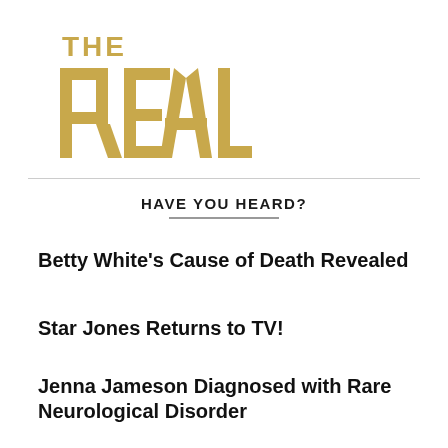[Figure (logo): The Real TV show logo in gold/tan color with 'THE' above and 'REAL' in large block letters]
HAVE YOU HEARD?
Betty White's Cause of Death Revealed
Star Jones Returns to TV!
Jenna Jameson Diagnosed with Rare Neurological Disorder